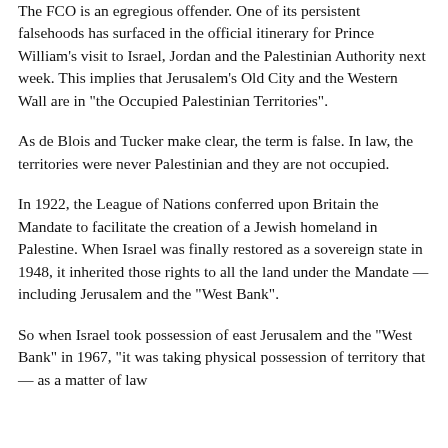The FCO is an egregious offender. One of its persistent falsehoods has surfaced in the official itinerary for Prince William’s visit to Israel, Jordan and the Palestinian Authority next week. This implies that Jerusalem’s Old City and the Western Wall are in “the Occupied Palestinian Territories”.
As de Blois and Tucker make clear, the term is false. In law, the territories were never Palestinian and they are not occupied.
In 1922, the League of Nations conferred upon Britain the Mandate to facilitate the creation of a Jewish homeland in Palestine. When Israel was finally restored as a sovereign state in 1948, it inherited those rights to all the land under the Mandate — including Jerusalem and the “West Bank”.
So when Israel took possession of east Jerusalem and the “West Bank” in 1967, “it was taking physical possession of territory that— as a matter of law